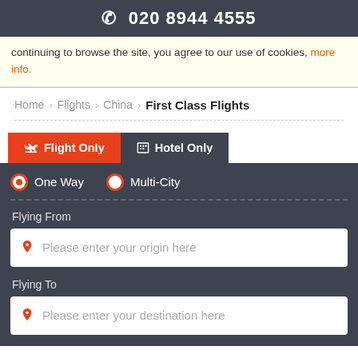020 8944 4555
continuing to browse the site, you agree to our use of cookies, more info.
Home > Flights > China > First Class Flights
[Figure (screenshot): Flight booking form with tabs: Flight Only (active, orange), Hotel Only (dark). Radio buttons: One Way, Multi-City. Fields: Flying From (Please enter your origin here), Flying To (Please enter your destination here).]